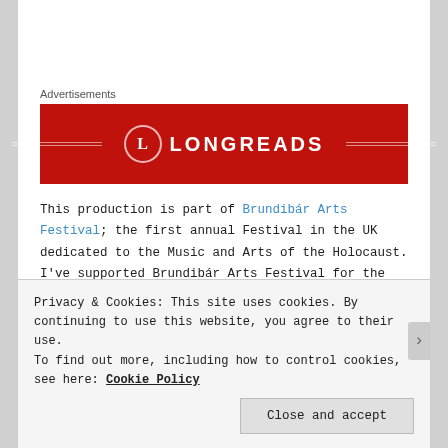Advertisements
[Figure (logo): Longreads advertisement banner — red background with white LONGREADS text and circular L logo]
This production is part of Brundibár Arts Festival; the first annual Festival in the UK dedicated to the Music and Arts of the Holocaust. I've supported Brundibár Arts Festival for the last few years – it's a super important and special festival; it seeks to find new ways to positively document the
Privacy & Cookies: This site uses cookies. By continuing to use this website, you agree to their use. To find out more, including how to control cookies, see here: Cookie Policy
Close and accept